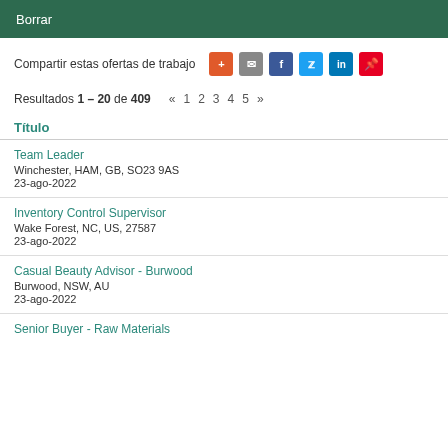Borrar
Compartir estas ofertas de trabajo
Resultados 1 – 20 de 409  «  1  2  3  4  5  »
Título
Team Leader
Winchester, HAM, GB, SO23 9AS
23-ago-2022
Inventory Control Supervisor
Wake Forest, NC, US, 27587
23-ago-2022
Casual Beauty Advisor - Burwood
Burwood, NSW, AU
23-ago-2022
Senior Buyer - Raw Materials